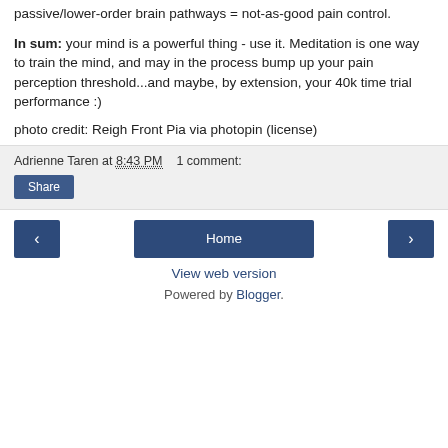passive/lower-order brain pathways = not-as-good pain control.
In sum: your mind is a powerful thing - use it. Meditation is one way to train the mind, and may in the process bump up your pain perception threshold...and maybe, by extension, your 40k time trial performance :)
photo credit: Reigh Front Pia via photopin (license)
Adrienne Taren at 8:43 PM    1 comment:
Share
Home
View web version
Powered by Blogger.